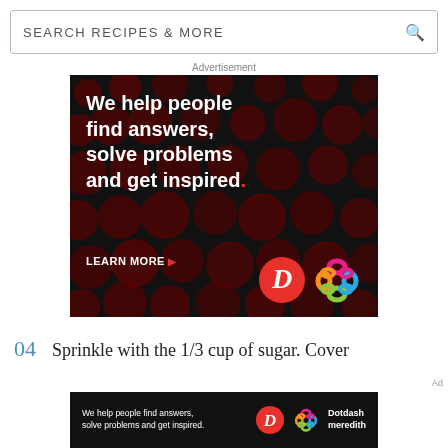SEARCH RECIPES & MORE
Advertisement
[Figure (illustration): Dark advertisement banner with polka dot pattern background. Text reads: 'We help people find answers, solve problems and get inspired.' with a red period. 'LEARN MORE' with arrow. Dotdash D logo and Meredith logo visible at bottom right.]
04  Sprinkle with the 1/3 cup of sugar. Cover
[Figure (illustration): Smaller dark banner ad at bottom: 'We help people find answers, solve problems and get inspired.' with Dotdash D logo and Dotdash meredith text logo.]